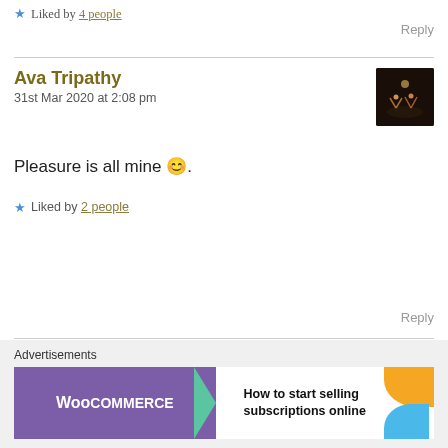Liked by 4 people
Reply
Ava Tripathy
31st Mar 2020 at 2:08 pm
[Figure (photo): Dark avatar photo showing silhouettes]
Pleasure is all mine 😊.
Liked by 2 people
Reply
Advertisements
[Figure (screenshot): WooCommerce advertisement banner reading 'How to start selling subscriptions online']